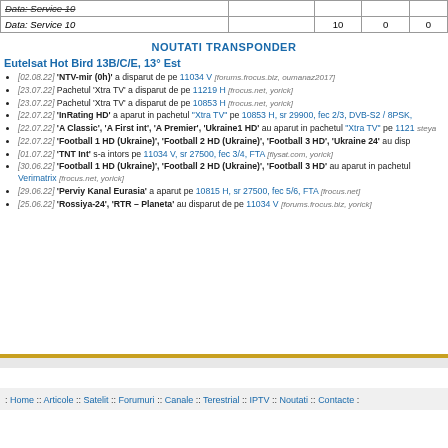| Data: Service 10 (strikethrough) |  |  |  |  |
| Data: Service 10 |  | 10 | 0 | 0 |
NOUTATI TRANSPONDER
Eutelsat Hot Bird 13B/C/E, 13° Est
[02.08.22] 'NTV-mir (0h)' a disparut de pe 11034 V [forums.frocus.biz, oumanaz2017]
[23.07.22] Pachetul 'Xtra TV' a disparut de pe 11219 H [frocus.net, yorick]
[23.07.22] Pachetul 'Xtra TV' a disparut de pe 10853 H [frocus.net, yorick]
[22.07.22] 'InRating HD' a aparut in pachetul "Xtra TV" pe 10853 H, sr 29900, fec 2/3, DVB-S2 / 8PSK,
[22.07.22] 'A Classic', 'A First int', 'A Premier', 'Ukraine1 HD' au aparut in pachetul "Xtra TV" pe 1121 steya
[22.07.22] 'Football 1 HD (Ukraine)', 'Football 2 HD (Ukraine)', 'Football 3 HD', 'Ukraine 24' au disp
[01.07.22] 'TNT Int' s-a intors pe 11034 V, sr 27500, fec 3/4, FTA [flysat.com, yorick]
[30.06.22] 'Football 1 HD (Ukraine)', 'Football 2 HD (Ukraine)', 'Football 3 HD' au aparut in pachetul Verimatrix [frocus.net, yorick]
[29.06.22] 'Perviy Kanal Eurasia' a aparut pe 10815 H, sr 27500, fec 5/6, FTA [frocus.net]
[25.06.22] 'Rossiya-24', 'RTR – Planeta' au disparut de pe 11034 V [forums.frocus.biz, yorick]
: Home :: Articole :: Satelit :: Forumuri :: Canale :: Terestrial :: IPTV :: Noutati :: Contacte :